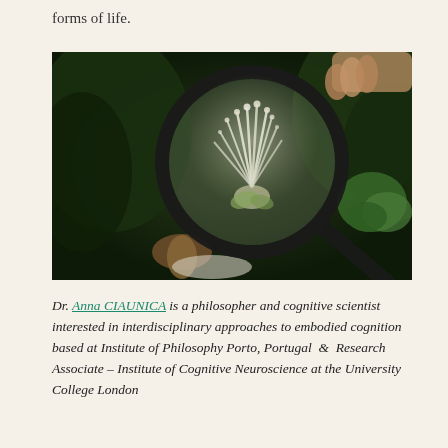forms of life.
[Figure (photo): Close-up photograph of a person holding a magnifying glass over a white flower with long white stamens, surrounded by various plants including green leafy plants and succulents. A mushroom is visible in the lower left area.]
Dr. Anna CIAUNICA is a philosopher and cognitive scientist interested in interdisciplinary approaches to embodied cognition based at Institute of Philosophy Porto, Portugal & Research Associate – Institute of Cognitive Neuroscience at the University College London